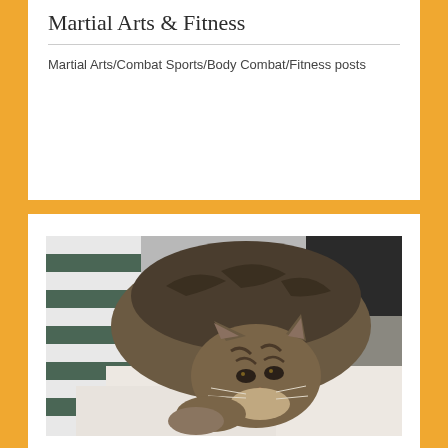Martial Arts & Fitness
Martial Arts/Combat Sports/Body Combat/Fitness posts
[Figure (photo): A tabby cat with striped fur lying down on a white/cream blanket, with a striped black and white fabric visible in the background. The cat is looking slightly downward with a relaxed expression.]